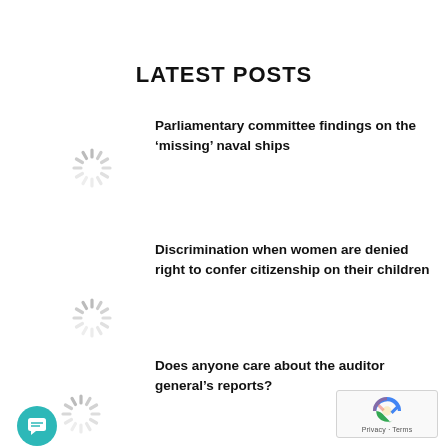LATEST POSTS
Parliamentary committee findings on the ‘missing’ naval ships
[Figure (illustration): Loading spinner icon]
Discrimination when women are denied right to confer citizenship on their children
[Figure (illustration): Loading spinner icon]
Does anyone care about the auditor general’s reports?
[Figure (illustration): Loading spinner icon and chat button icon]
[Figure (other): reCAPTCHA Privacy - Terms badge]